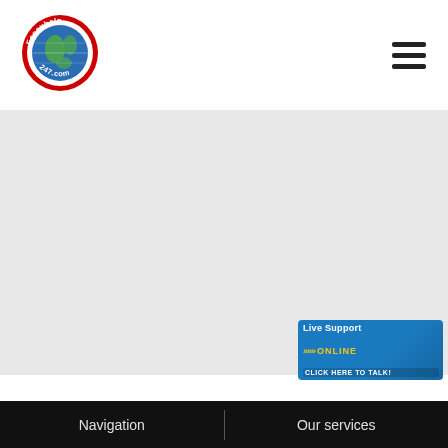[Figure (logo): Essayhelp247.com circular logo — red border with globe icon and text 'Essayhelp 247.com']
[Figure (infographic): Hamburger menu icon — three horizontal black bars]
[Figure (photo): Gray hero/banner area — light gray background, mostly empty]
[Figure (illustration): Live Support ONLINE banner — blue background with chevrons, yellow ONLINE text, headset woman photo, CLICK HERE TO TALK button]
Navigation
Our services